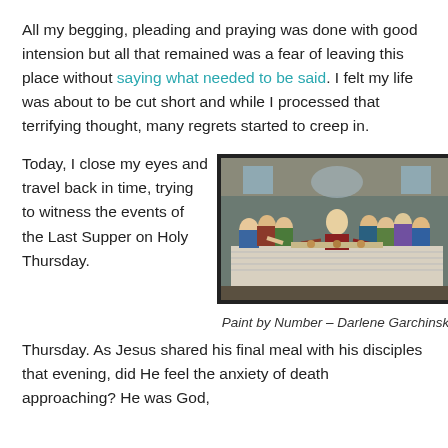All my begging, pleading and praying was done with good intension but all that remained was a fear of leaving this place without saying what needed to be said. I felt my life was about to be cut short and while I processed that terrifying thought, many regrets started to creep in.
Today, I close my eyes and travel back in time, trying to witness the events of the Last Supper on Holy Thursday.
[Figure (illustration): A reproduction of the Last Supper painting (paint by number style), showing Jesus and his disciples seated at a long table. Framed with a dark border.]
Paint by Number – Darlene Garchinski
Thursday. As Jesus shared his final meal with his disciples that evening, did He feel the anxiety of death approaching? He was God,